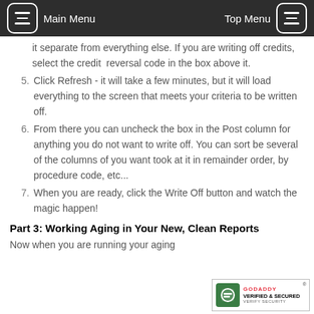Main Menu   Top Menu
it separate from everything else. If you are writing off credits, select the credit reversal code in the box above it.
5. Click Refresh - it will take a few minutes, but it will load everything to the screen that meets your criteria to be written off.
6. From there you can uncheck the box in the Post column for anything you do not want to write off. You can sort be several of the columns of you want took at it in remainder order, by procedure code, etc...
7. When you are ready, click the Write Off button and watch the magic happen!
Part 3: Working Aging in Your New, Clean Reports
Now when you are running your aging